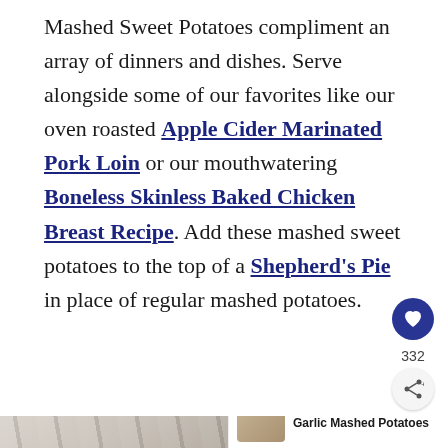Mashed Sweet Potatoes compliment an array of dinners and dishes. Serve alongside some of our favorites like our oven roasted Apple Cider Marinated Pork Loin or our mouthwatering Boneless Skinless Baked Chicken Breast Recipe. Add these mashed sweet potatoes to the top of a Shepherd's Pie in place of regular mashed potatoes.
[Figure (photo): Blurred close-up photo of a striped cloth or towel, with a 'What's Next: Garlic Mashed Potatoes' overlay in the bottom right corner.]